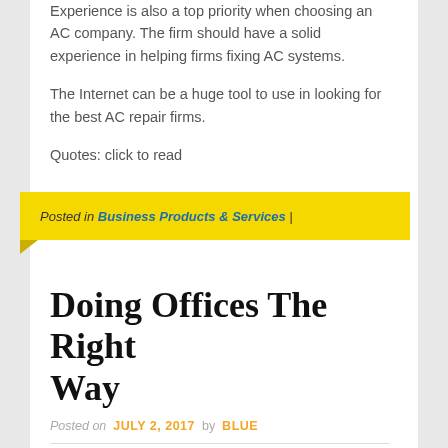Experience is also a top priority when choosing an AC company. The firm should have a solid experience in helping firms fixing AC systems.
The Internet can be a huge tool to use in looking for the best AC repair firms.
Quotes: click to read
Posted in Business Products & Services |
Doing Offices The Right Way
Posted on JULY 2, 2017 by BLUE
Advantages of Using Online Office Tools If you are someone who always needs offices tools such as